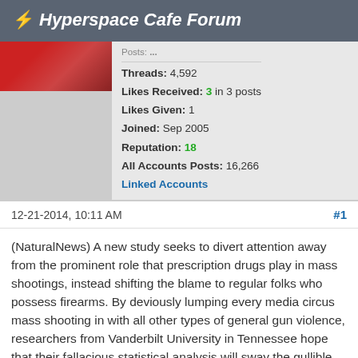⚡ Hyperspace Cafe Forum
Threads: 4,592
Likes Received: 3 in 3 posts
Likes Given: 1
Joined: Sep 2005
Reputation: 18
All Accounts Posts: 16,266
Linked Accounts
12-21-2014, 10:11 AM
#1
(NaturalNews) A new study seeks to divert attention away from the prominent role that prescription drugs play in mass shootings, instead shifting the blame to regular folks who possess firearms. By deviously lumping every media circus mass shooting in with all other types of general gun violence, researchers from Vanderbilt University in Tennessee hope that their fallacious statistical analysis will sway the gullible public towards future gun grabs.
According to the study, which was published in the American Journal of Public Health, focusing on mental illness in the post-